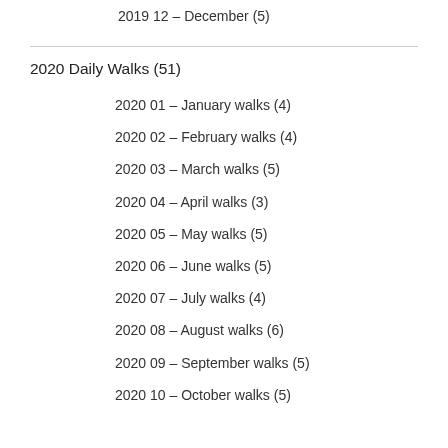2019 12 – December (5)
2020 Daily Walks (51)
2020 01 – January walks (4)
2020 02 – February walks (4)
2020 03 – March walks (5)
2020 04 – April walks (3)
2020 05 – May walks (5)
2020 06 – June walks (5)
2020 07 – July walks (4)
2020 08 – August walks (6)
2020 09 – September walks (5)
2020 10 – October walks (5)